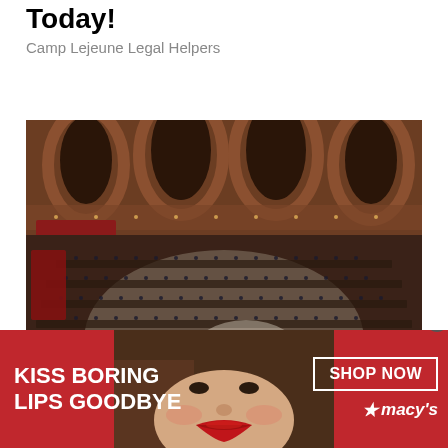Today!
Camp Lejeune Legal Helpers
[Figure (photo): Aerial wide-angle view of a large ornate parliamentary chamber filled with seated legislators, with red seating in a semicircular arrangement, wooden desks, and grand arched balconies above]
Following Politics: Discover More
[Figure (photo): Advertisement banner for Macy's showing a woman with red lipstick. Text reads 'KISS BORING LIPS GOODBYE' on the left and 'SHOP NOW' with Macy's star logo on the right. Red background.]